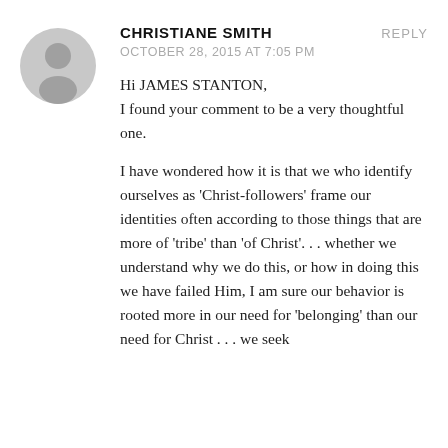[Figure (illustration): Circular gray default avatar icon showing a silhouette of a person]
CHRISTIANE SMITH
REPLY
OCTOBER 28, 2015 AT 7:05 PM
Hi JAMES STANTON,
I found your comment to be a very thoughtful one.

I have wondered how it is that we who identify ourselves as 'Christ-followers' frame our identities often according to those things that are more of 'tribe' than 'of Christ'. . . whether we understand why we do this, or how in doing this we have failed Him, I am sure our behavior is rooted more in our need for 'belonging' than our need for Christ . . . we seek